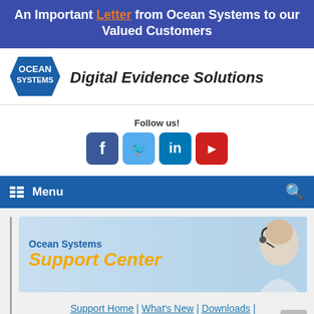An Important Letter from Ocean Systems to our Valued Customers
[Figure (logo): Ocean Systems hexagonal logo in blue with white text 'OCEAN SYSTEMS']
Digital Evidence Solutions
Follow us!
[Figure (infographic): Social media icons: Facebook, Twitter, LinkedIn, YouTube]
Menu
[Figure (photo): Ocean Systems Support Center banner with blue/yellow text and a woman wearing a headset on the right]
Support Home | What's New | Downloads | Knowledge Base | Submit a Support Request